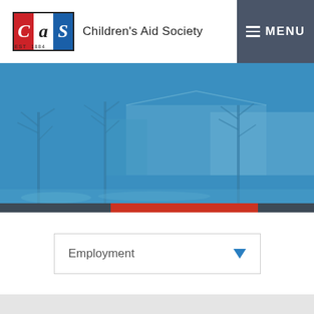Children's Aid Society EST 1884 | MENU
[Figure (photo): Blue-tinted photo of a building exterior with bare winter trees in the foreground]
Employment